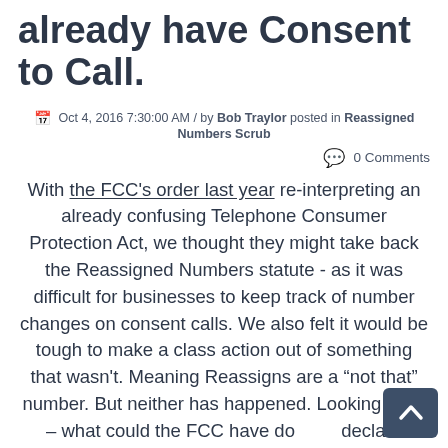already have Consent to Call.
Oct 4, 2016 7:30:00 AM / by Bob Traylor posted in Reassigned Numbers Scrub
0 Comments
With the FCC's order last year re-interpreting an already confusing Telephone Consumer Protection Act, we thought they might take back the Reassigned Numbers statute - as it was difficult for businesses to keep track of number changes on consent calls. We also felt it would be tough to make a class action out of something that wasn't. Meaning Reassigns are a “not that” number. But neither has happened. Looking back – what could the FCC have done to declare companies placing the calls responsible for